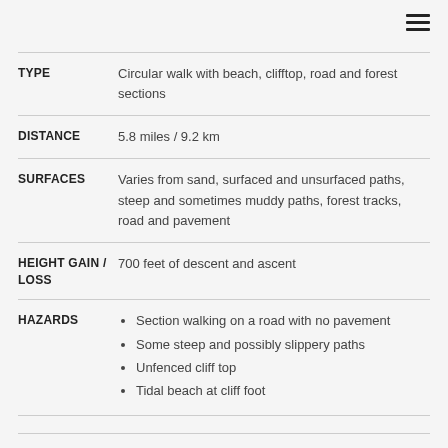| Field | Value |
| --- | --- |
| TYPE | Circular walk with beach, clifftop, road and forest sections |
| DISTANCE | 5.8 miles / 9.2 km |
| SURFACES | Varies from sand, surfaced and unsurfaced paths, steep and sometimes muddy paths, forest tracks, road and pavement |
| HEIGHT GAIN / LOSS | 700 feet of descent and ascent |
| HAZARDS | Section walking on a road with no pavement; Some steep and possibly slippery paths; Unfenced cliff top; Tidal beach at cliff foot |